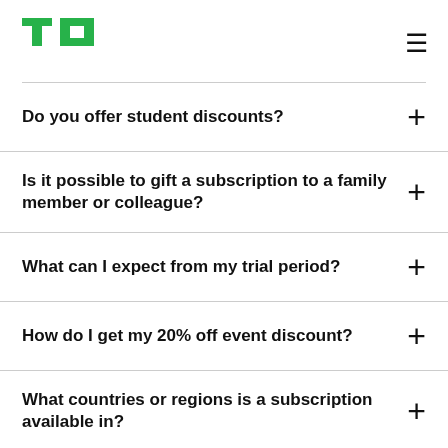TechCrunch logo and navigation
Do you offer student discounts?
Is it possible to gift a subscription to a family member or colleague?
What can I expect from my trial period?
How do I get my 20% off event discount?
What countries or regions is a subscription available in?